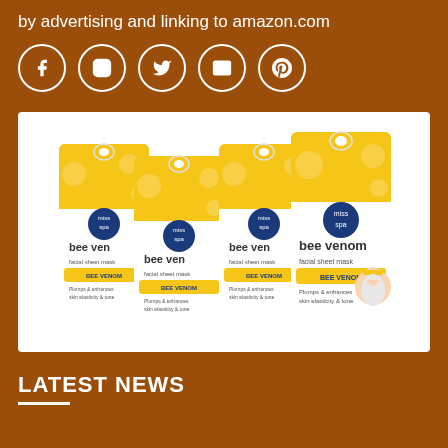by advertising and linking to amazon.com
[Figure (infographic): Row of five social media icon circles: Facebook, Instagram, Twitter, Email, Pinterest — white circle outlines on brown background]
[Figure (photo): Product photo of four Miss Spa bee venom facial sheet mask packages arranged in a fan/cascade layout on a white background]
LATEST NEWS